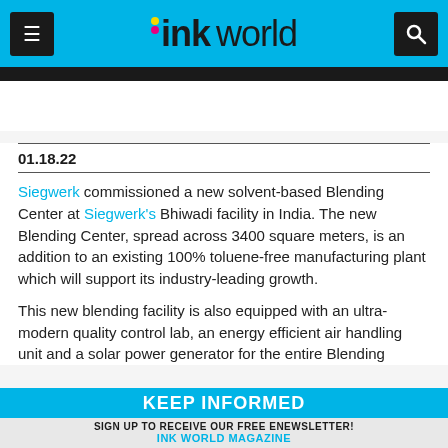ink world
01.18.22
Siegwerk commissioned a new solvent-based Blending Center at Siegwerk's Bhiwadi facility in India. The new Blending Center, spread across 3400 square meters, is an addition to an existing 100% toluene-free manufacturing plant which will support its industry-leading growth.

This new blending facility is also equipped with an ultra-modern quality control lab, an energy efficient air handling unit and a solar power generator for the entire Blending
KEEP INFORMED
SIGN UP TO RECEIVE OUR FREE ENEWSLETTER!
INK WORLD MAGAZINE